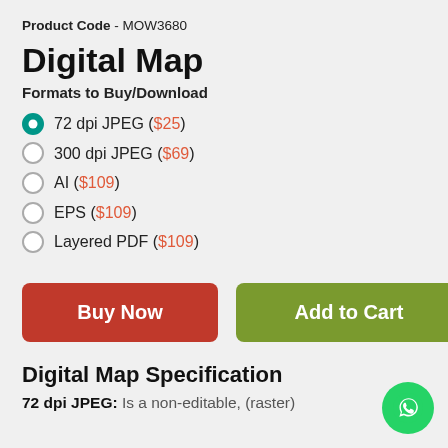Product Code - MOW3680
Digital Map
Formats to Buy/Download
72 dpi JPEG ( $25 )
300 dpi JPEG ( $69 )
AI ( $109 )
EPS ( $109 )
Layered PDF ( $109 )
[Figure (other): Buy Now button (red) and Add to Cart button (olive green)]
Digital Map Specification
72 dpi JPEG: Is a non-editable, (raster)